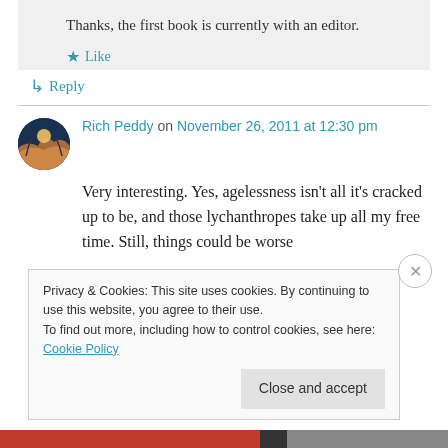Thanks, the first book is currently with an editor.
Like
Reply
Rich Peddy on November 26, 2011 at 12:30 pm
Very interesting. Yes, agelessness isn't all it's cracked up to be, and those lychanthropes take up all my free time. Still, things could be worse
Privacy & Cookies: This site uses cookies. By continuing to use this website, you agree to their use.
To find out more, including how to control cookies, see here: Cookie Policy
Close and accept